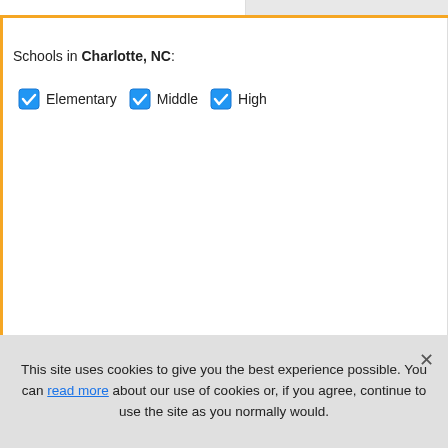Schools in Charlotte, NC:
Elementary (checked)
Middle (checked)
High (checked)
[Figure (logo): GreatSchools logo — 'Great!' with exclamation mark in blue italic, preceded by 'Powered by' in gray]
This site uses cookies to give you the best experience possible. You can read more about our use of cookies or, if you agree, continue to use the site as you normally would.